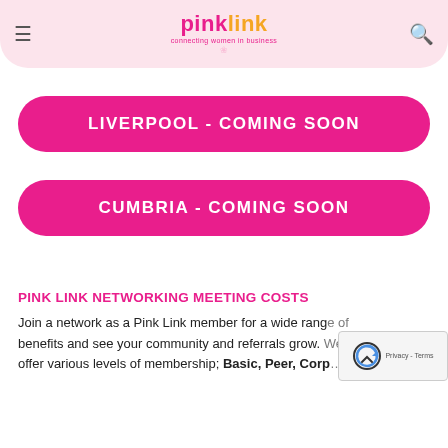pink link — connecting women in business
LIVERPOOL - COMING SOON
CUMBRIA - COMING SOON
PINK LINK NETWORKING MEETING COSTS
Join a network as a Pink Link member for a wide range of benefits and see your community and referrals grow. We offer various levels of membership; Basic, Peer, Corp…